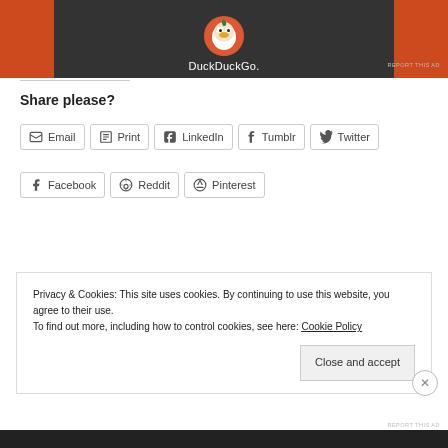[Figure (screenshot): DuckDuckGo advertisement banner with orange background and dark center panel showing the DuckDuckGo logo and name]
Share please?
Email
Print
LinkedIn
Tumblr
Twitter
Facebook
Reddit
Pinterest
Privacy & Cookies: This site uses cookies. By continuing to use this website, you agree to their use. To find out more, including how to control cookies, see here: Cookie Policy
Close and accept